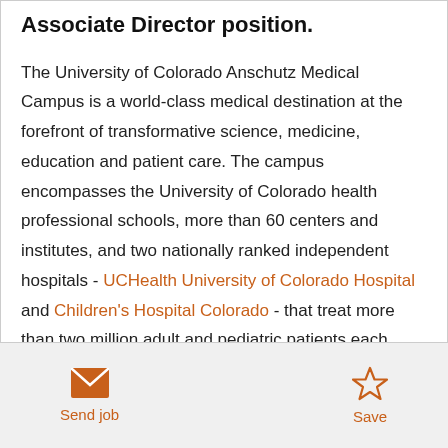Associate Director position.
The University of Colorado Anschutz Medical Campus is a world-class medical destination at the forefront of transformative science, medicine, education and patient care. The campus encompasses the University of Colorado health professional schools, more than 60 centers and institutes, and two nationally ranked independent hospitals - UCHealth University of Colorado Hospital and Children's Hospital Colorado - that treat more than two million adult and pediatric patients each
Send job | Save